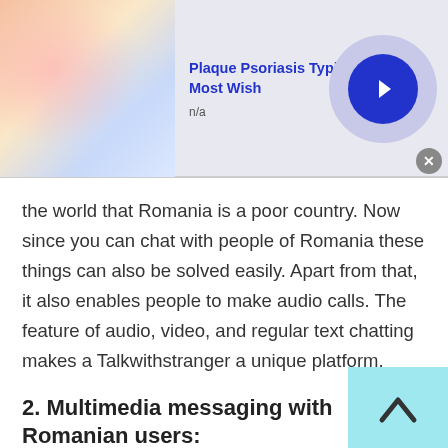[Figure (screenshot): Ad banner at top: image of skin condition (psoriasis), title 'Plaque Psoriasis Typical Signs - Most Wish', subtitle 'n/a', with blue arrow button and close button]
the world that Romania is a poor country. Now since you can chat with people of Romania these things can also be solved easily. Apart from that, it also enables people to make audio calls. The feature of audio, video, and regular text chatting makes a Talkwithstranger a unique platform.
2. Multimedia messaging with Romanian users:
[Figure (screenshot): Ad banner at bottom: image of skin condition (psoriasis), title 'Plaque Psoriasis Typical Signs - Most Wish', subtitle 'n/a', with blue arrow button and close button]